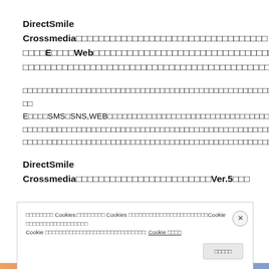DirectSmile Crossmedia□□□□□□□□□□□□□□□□□□□□□□□□□□□□□□□□□□□□□E□□□□Web□□□□□□□□□□□□□□□□□□□□□□□□□□□□□□□□□□□□□□□□□□□□□□□□□□□□□□□□□□□□□□□□□□□□□□□□□□□□□□□□□□□□□□□
□□□□□□□□□□□□□□□□□□□□□□□□□□□□□□□□□□□□□□□□□□□□□□□□□□□□□□□□□□□□□□□□□□□□□□□□E□□□□SMS□SNS,WEB□□□□□□□□□□□□□□□□□□□□□□□□□□□□□□□□□□□□□□□□□□□□□□□□□□□□□□□□□□□□□□□□□□□□□□□□□□□□□□□□□□□□□□□□□□□□□□□□□□□□□□□□□□□□□□□□□□□□□□□□□□□□□□□□□□□□□□□□□□□□□□□□□□□□□□□□□□□□□□□□□□□□□□□□□□□□□□
DirectSmile Crossmedia□□□□□□□□□□□□□□□□□□□□□□□□Ver.5□□□
□□□□□□□□ Cookies:□□□□□□□□ Cookies □□□□□□□□□□□□□□□□□□□□□□□Cookie □□□□□□□□□□□□□□□□□□Cookie □□□□□□□□□□□□□□□□□□□□□□□□□□□□□: Cookie □□□□□